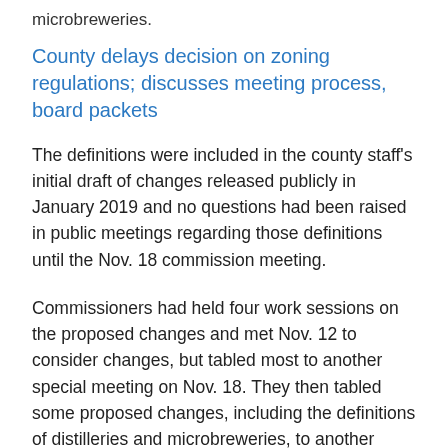microbreweries.
County delays decision on zoning regulations; discusses meeting process, board packets
The definitions were included in the county staff's initial draft of changes released publicly in January 2019 and no questions had been raised in public meetings regarding those definitions until the Nov. 18 commission meeting.
Commissioners had held four work sessions on the proposed changes and met Nov. 12 to consider changes, but tabled most to another special meeting on Nov. 18. They then tabled some proposed changes, including the definitions of distilleries and microbreweries, to another meeting on Nov. 24.
County commissioners discussed and delayed a vote